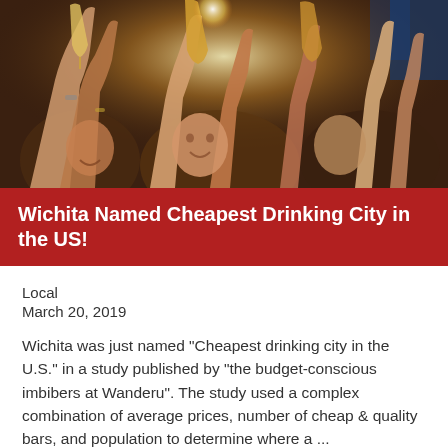[Figure (photo): Group of young people raising glasses and beer mugs in a toast, smiling, indoor bar setting with warm lighting.]
Wichita Named Cheapest Drinking City in the US!
Local
March 20, 2019
Wichita was just named "Cheapest drinking city in the U.S." in a study published by "the budget-conscious imbibers at Wanderu". The study used a complex combination of average prices, number of cheap & quality bars, and population to determine where a ...
Read More